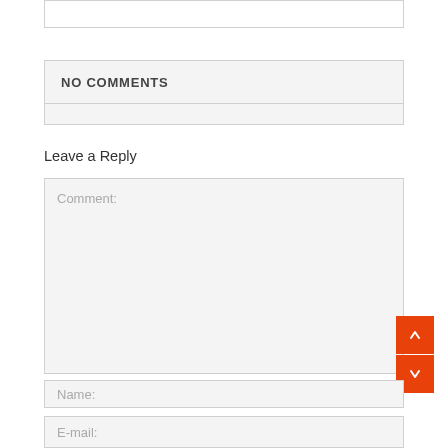NO COMMENTS
Leave a Reply
Comment:
Name:
E-mail: